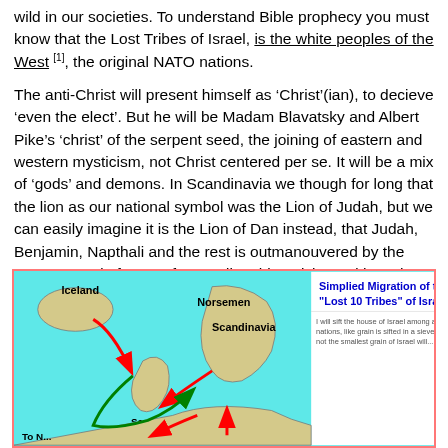wild in our societies. To understand Bible prophecy you must know that the Lost Tribes of Israel, is the white peoples of the West [1], the original NATO nations.
The anti-Christ will present himself as ‘Christ’(ian), to decieve ‘even the elect’. But he will be Madam Blavatsky and Albert Pike’s ‘christ’ of the serpent seed, the joining of eastern and western mysticism, not Christ centered per se. It will be a mix of ‘gods’ and demons. In Scandinavia we though for long that the lion as our national symbol was the Lion of Judah, but we can easily imagine it is the Lion of Dan instead, that Judah, Benjamin, Napthali and the rest is outmanouvered by the serpent seed of Dan. After reading this article, and how they have destroyed all Christian customs and laws in our nations [2], you will see why we can come to that conclusion.
[Figure (map): Map showing Simplified Migration of the 'Lost 10 Tribes' of Israel, showing Iceland, Norsemen/Scandinavia, Scots, with red and green arrows indicating migration routes. Includes a Bible verse excerpt about sifting the house of Israel among all nations.]